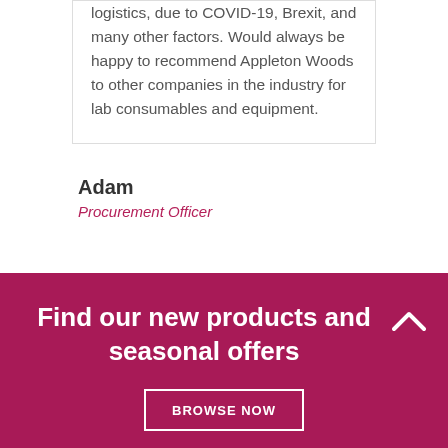logistics, due to COVID-19, Brexit, and many other factors. Would always be happy to recommend Appleton Woods to other companies in the industry for lab consumables and equipment.
Adam
Procurement Officer
Find our new products and seasonal offers
BROWSE NOW